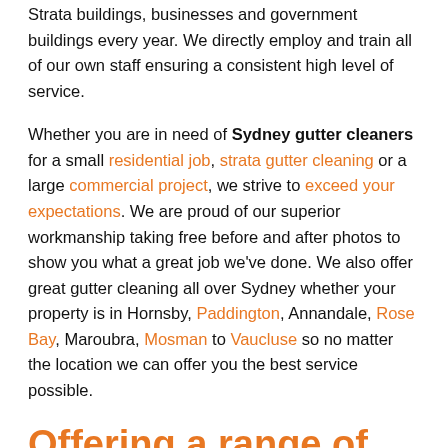Strata buildings, businesses and government buildings every year. We directly employ and train all of our own staff ensuring a consistent high level of service.
Whether you are in need of Sydney gutter cleaners for a small residential job, strata gutter cleaning or a large commercial project, we strive to exceed your expectations. We are proud of our superior workmanship taking free before and after photos to show you what a great job we've done. We also offer great gutter cleaning all over Sydney whether your property is in Hornsby, Paddington, Annandale, Rose Bay, Maroubra, Mosman to Vaucluse so no matter the location we can offer you the best service possible.
Offering a range of gutter services
Cost saving options while we're up there cleaning your gutters: Trimming small branches, fixing cracked tiles, and